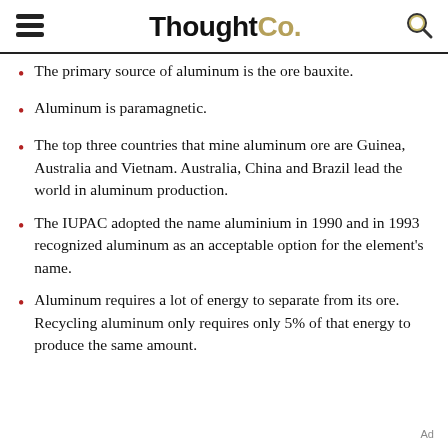ThoughtCo.
The primary source of aluminum is the ore bauxite.
Aluminum is paramagnetic.
The top three countries that mine aluminum ore are Guinea, Australia and Vietnam. Australia, China and Brazil lead the world in aluminum production.
The IUPAC adopted the name aluminium in 1990 and in 1993 recognized aluminum as an acceptable option for the element's name.
Aluminum requires a lot of energy to separate from its ore. Recycling aluminum only requires only 5% of that energy to produce the same amount.
Ad